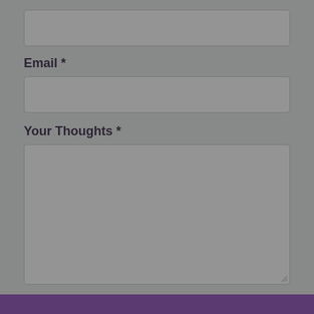[Figure (screenshot): Top input field (truncated, partially visible at the top of the page) — a gray rectangular text input box.]
Email *
[Figure (screenshot): Email input field — a gray rectangular text input box.]
Your Thoughts *
[Figure (screenshot): Your Thoughts textarea — a large gray rectangular multi-line text input box with a resize handle in the bottom-right corner.]
SHARE YOUR THOUGHTS
[Figure (screenshot): Bottom purple/violet bar spanning the full width at the bottom of the page.]